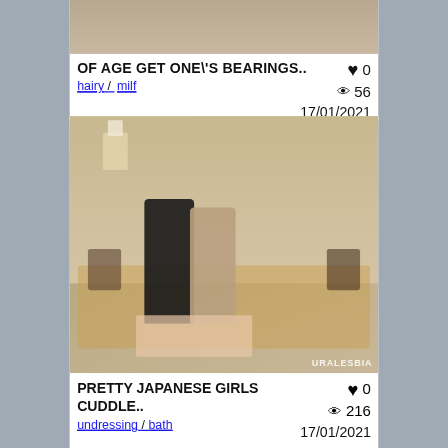[Figure (photo): Partial top of a content card showing a cropped photo]
OF AGE GET ONE\'S BEARINGS..
hairy / milf
♥ 0  👁 56  17/01/2021
[Figure (photo): Two women sitting on a couch, dressed in black, smiling and embracing. Watermark: URALESBIA]
PRETTY JAPANESE GIRLS CUDDLE..
undressing / bath
♥ 0  👁 216  17/01/2021